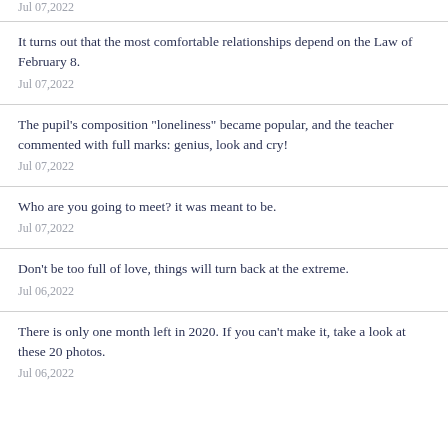Jul 07,2022
It turns out that the most comfortable relationships depend on the Law of February 8.
Jul 07,2022
The pupil's composition "loneliness" became popular, and the teacher commented with full marks: genius, look and cry!
Jul 07,2022
Who are you going to meet? it was meant to be.
Jul 07,2022
Don't be too full of love, things will turn back at the extreme.
Jul 06,2022
There is only one month left in 2020. If you can't make it, take a look at these 20 photos.
Jul 06,2022